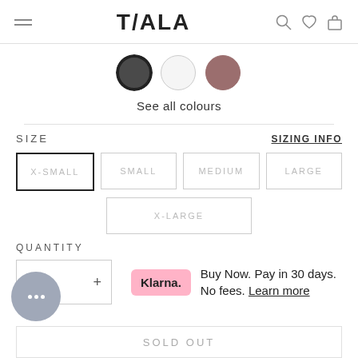TALA
[Figure (other): Three colour swatches: dark grey (selected, outlined), white, and mauve/dusty rose]
See all colours
SIZE
SIZING INFO
X-SMALL
SMALL
MEDIUM
LARGE
X-LARGE
QUANTITY
Buy Now. Pay in 30 days. No fees. Learn more
SOLD OUT